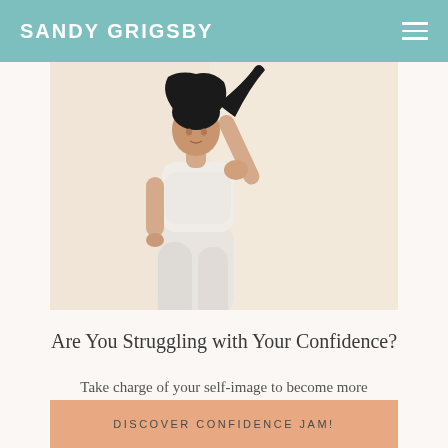SANDY GRIGSBY
[Figure (photo): Woman in white crop top and white high-waisted pants with arm raised, against a warm beige background]
Are You Struggling with Your Confidence?
Take charge of your self-image to become more confident in your life, relationships, and career.
DISCOVER CONFIDENCE JAM!